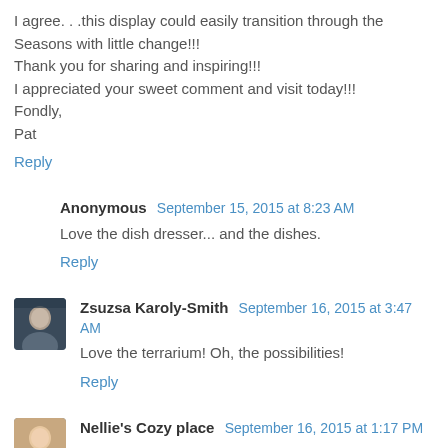I agree. . .this display could easily transition through the Seasons with little change!!!
Thank you for sharing and inspiring!!!
I appreciated your sweet comment and visit today!!!
Fondly,
Pat
Reply
Anonymous September 15, 2015 at 8:23 AM
Love the dish dresser... and the dishes.
Reply
Zsuzsa Karoly-Smith September 16, 2015 at 3:47 AM
Love the terrarium! Oh, the possibilities!
Reply
Nellie's Cozy place September 16, 2015 at 1:17 PM